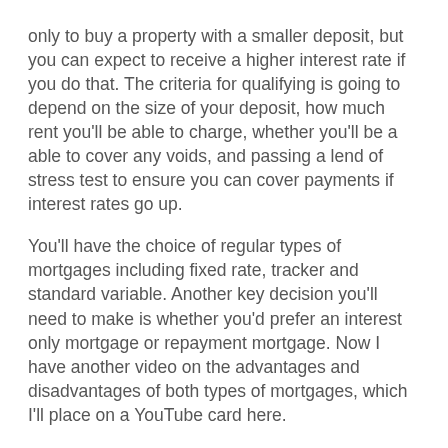only to buy a property with a smaller deposit, but you can expect to receive a higher interest rate if you do that. The criteria for qualifying is going to depend on the size of your deposit, how much rent you'll be able to charge, whether you'll be a able to cover any voids, and passing a lend of stress test to ensure you can cover payments if interest rates go up. You'll have the choice of regular types of mortgages including fixed rate, tracker and standard variable. Another key decision you'll need to make is whether you'd prefer an interest only mortgage or repayment mortgage. Now I have another video on the advantages and disadvantages of both types of mortgages, which I'll place on a YouTube card here. And I'll also place a link in the description below. It's worth a watch, and I also share what type of mortgage I use. So what options are available to you when getting a buy to